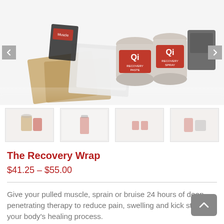[Figure (photo): Product photo of The Recovery Wrap kit including jars labeled Qi Recovery Paste and Qi Recovery Spray, copper-colored patches, and other recovery product items on a white reflective surface. Navigation arrows on left and right sides.]
[Figure (photo): Row of four thumbnail product images showing different views or components of The Recovery Wrap product.]
The Recovery Wrap
$41.25 – $55.00
Give your pulled muscle, sprain or bruise 24 hours of deep-penetrating therapy to reduce pain, swelling and kick start your body's healing process.